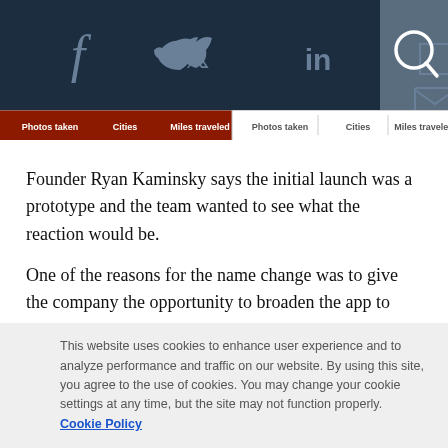[Figure (screenshot): Website navigation bar with social media icons (Facebook, Twitter, LinkedIn, email) and a search button on a dark navy background]
[Figure (screenshot): Stats bar showing 'Photos taken', 'Cities', 'Miles traveled' labels in two sections — left section with dark red background, right section with white background]
Founder Ryan Kaminsky says the initial launch was a prototype and the team wanted to see what the reaction would be.
One of the reasons for the name change was to give the company the opportunity to broaden the app to appeal to a wider audience than just travellers.
And, Kaminsky explains, there was also a bit of confusion
This website uses cookies to enhance user experience and to analyze performance and traffic on our website. By using this site, you agree to the use of cookies. You may change your cookie settings at any time, but the site may not function properly.  Cookie Policy